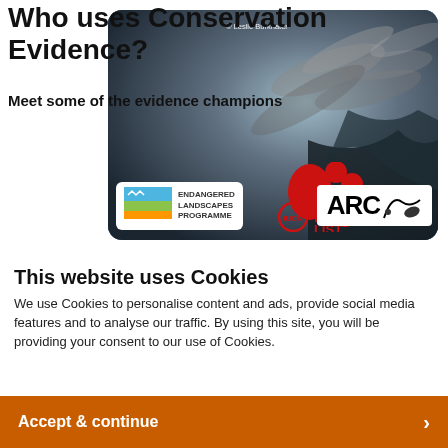Who uses Conservation Evidence?
© Leslie Burkhater
Meet some of the evidence champions
[Figure (photo): A photo card with fish/wildlife image overlaid with logos: Endangered Landscapes Programme, IUCN Red List, and ARC]
This website uses Cookies
We use Cookies to personalise content and ads, provide social media features and to analyse our traffic. By using this site, you will be providing your consent to our use of Cookies.
Accept & continue